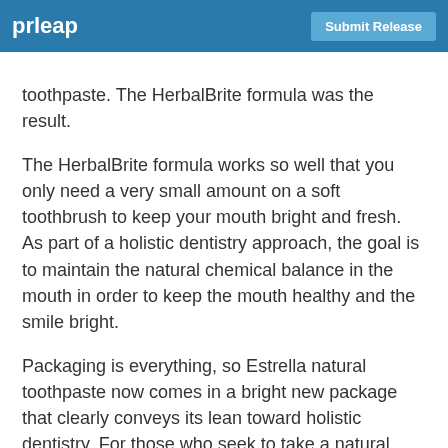prleap | Submit Release
toothpaste. The HerbalBrite formula was the result.
The HerbalBrite formula works so well that you only need a very small amount on a soft toothbrush to keep your mouth bright and fresh. As part of a holistic dentistry approach, the goal is to maintain the natural chemical balance in the mouth in order to keep the mouth healthy and the smile bright.
Packaging is everything, so Estrella natural toothpaste now comes in a bright new package that clearly conveys its lean toward holistic dentistry. For those who seek to take a natural approach to their oral health, this new packaging is helpful as an identifier for a natural toothpaste.